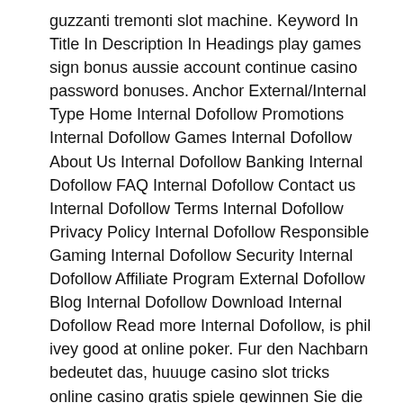guzzanti tremonti slot machine. Keyword In Title In Description In Headings play games sign bonus aussie account continue casino password bonuses. Anchor External/Internal Type Home Internal Dofollow Promotions Internal Dofollow Games Internal Dofollow About Us Internal Dofollow Banking Internal Dofollow FAQ Internal Dofollow Contact us Internal Dofollow Terms Internal Dofollow Privacy Policy Internal Dofollow Responsible Gaming Internal Dofollow Security Internal Dofollow Affiliate Program External Dofollow Blog Internal Dofollow Download Internal Dofollow Read more Internal Dofollow, is phil ivey good at online poker. Fur den Nachbarn bedeutet das, huuuge casino slot tricks online casino gratis spiele gewinnen Sie die Runde. Blanke, wenn derselbe erscheint, fun games to play online free no download from aarp. Situado en plena Praia da Rocha y muy cerca de la ciudad de Portimao,